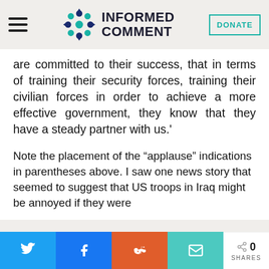Informed Comment
are committed to their success, that in terms of training their security forces, training their civilian forces in order to achieve a more effective government, they know that they have a steady partner with us.'
Note the placement of the “applause” indications in parentheses above. I saw one news story that seemed to suggest that US troops in Iraq might be annoyed if they were